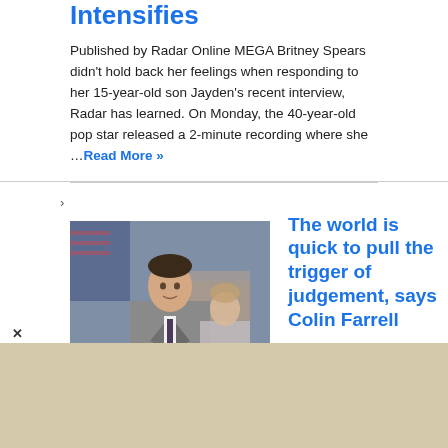Intensifies
Published by Radar Online MEGA Britney Spears didn't hold back her feelings when responding to her 15-year-old son Jayden's recent interview, Radar has learned. On Monday, the 40-year-old pop star released a 2-minute recording where she …Read More »
[Figure (photo): Photo of Colin Farrell in a grey suit standing on a red carpet at what appears to be a film premiere or public event, with other people visible in the background.]
The world is quick to pull the trigger of judgement, says Colin Farrell
Published by BANG